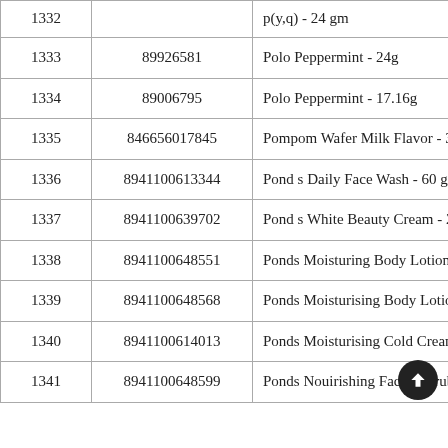| # | Barcode | Product Name |
| --- | --- | --- |
| 1332 |  | p(y,q) - 24 gm (partial) |
| 1333 | 89926581 | Polo Peppermint - 24g |
| 1334 | 89006795 | Polo Peppermint - 17.16g |
| 1335 | 846656017845 | Pompom Wafer Milk Flavor - 30 gm |
| 1336 | 8941100613344 | Pond s Daily Face Wash - 60 gm |
| 1337 | 8941100639702 | Pond s White Beauty Cream - 25 gm |
| 1338 | 8941100648551 | Ponds Moisturing Body Lotion - 200 ml |
| 1339 | 8941100648568 | Ponds Moisturising Body Lotion - 100 m |
| 1340 | 8941100614013 | Ponds Moisturising Cold Cream - 50 gm |
| 1341 | 8941100648599 | Ponds Nouirishing Facial Scrub - 110 gm |